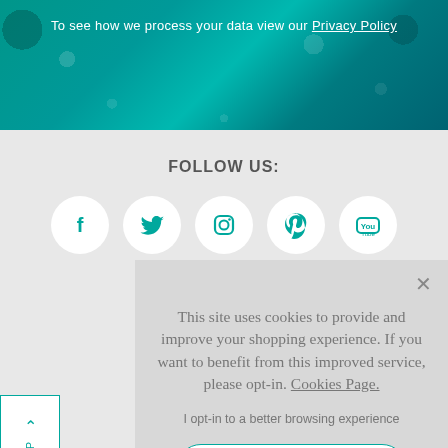To see how we process your data view our Privacy Policy
FOLLOW US:
[Figure (illustration): Five social media icons (Facebook, Twitter, Instagram, Pinterest, YouTube) in white circles on light grey background]
This site uses cookies to provide and improve your shopping experience. If you want to benefit from this improved service, please opt-in. Cookies Page.
I opt-in to a better browsing experience
ACCEPT COOKIES